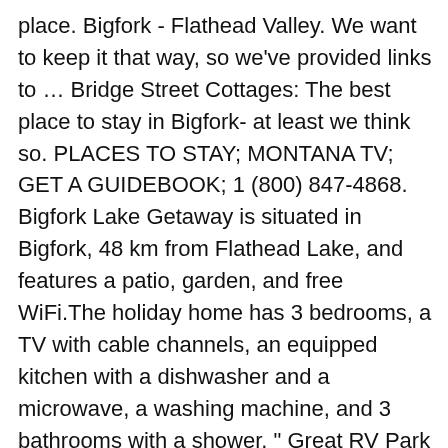place. Bigfork - Flathead Valley. We want to keep it that way, so we've provided links to … Bridge Street Cottages: The best place to stay in Bigfork- at least we think so. PLACES TO STAY; MONTANA TV; GET A GUIDEBOOK; 1 (800) 847-4868. Bigfork Lake Getaway is situated in Bigfork, 48 km from Flathead Lake, and features a patio, garden, and free WiFi.The holiday home has 3 bedrooms, a TV with cable channels, an equipped kitchen with a dishwasher and a microwave, a washing machine, and 3 bathrooms with a shower. " Great RV Park near Bigfork, Montana & Flathead Lake " Flathead Lake Resort. Update. Box 160429 " " Beautiful cabin, surroundings. Find out more Opens in new tab or window Dismiss close travel advisory. Top guest reviews . Choose dates. The air-conditioned property is 26 miles from Kalispell, and guests benefit from complimentary WiFi and private parking available on site. Bridge Street Cottages: Great place to stay in Bigfork, Montana - See 243